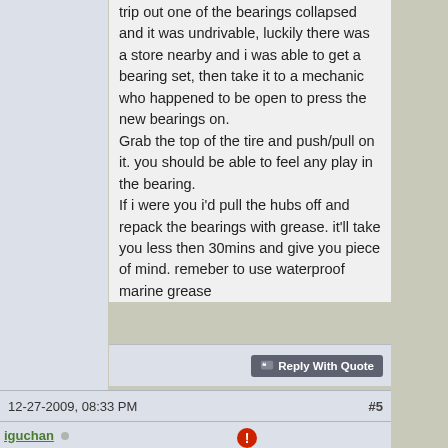trip out one of the bearings collapsed and it was undrivable, luckily there was a store nearby and i was able to get a bearing set, then take it to a mechanic who happened to be open to press the new bearings on.
Grab the top of the tire and push/pull on it. you should be able to feel any play in the bearing.
If i were you i'd pull the hubs off and repack the bearings with grease. it'll take you less then 30mins and give you piece of mind. remeber to use waterproof marine grease
Reply With Quote
12-27-2009, 08:33 PM
#5
iguchan